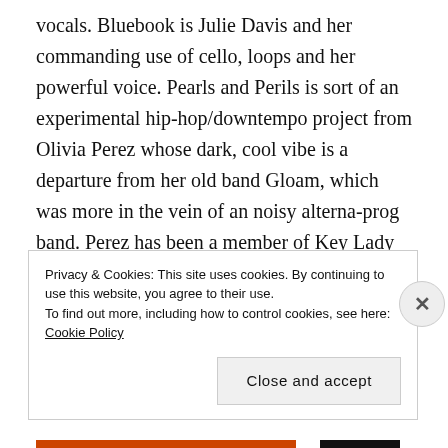vocals. Bluebook is Julie Davis and her commanding use of cello, loops and her powerful voice. Pearls and Perils is sort of an experimental hip-hop/downtempo project from Olivia Perez whose dark, cool vibe is a departure from her old band Gloam, which was more in the vein of an noisy alterna-prog band. Perez has been a member of Key Lady & The Frontstrangers, which mostly evolved into RAREBYRD$ and some of that mysterious production quality is present in the soundscapes of Pearls and Perils.
Privacy & Cookies: This site uses cookies. By continuing to use this website, you agree to their use. To find out more, including how to control cookies, see here: Cookie Policy
Close and accept